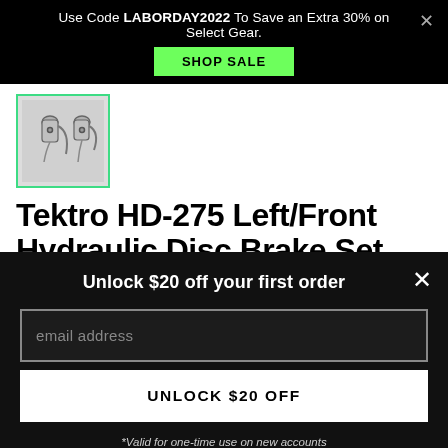Use Code LABORDAY2022 To Save an Extra 30% on Select Gear.
SHOP SALE
[Figure (photo): Thumbnail image of Tektro HD-275 hydraulic disc brake lever set, two brake lever components shown in silver/chrome finish, inside a green-bordered box]
Tektro HD-275 Left/Front Hydraulic Disc Brake Set
Unlock $20 off your first order
email address
UNLOCK $20 OFF
*Valid for one-time use on new accounts